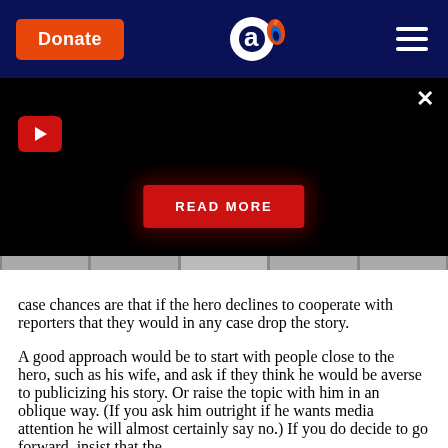[Figure (screenshot): Navigation header bar with dark navy background containing an orange 'Donate' button on the left, a circular 'a' logo with flame in the center, and a hamburger menu icon on the right]
[Figure (screenshot): Black video panel with red play button icon in top left, a white X close button in the top right, and a red 'READ MORE' button with dark glow effect centered near the bottom]
case chances are that if the hero declines to cooperate with reporters that they would in any case drop the story.
A good approach would be to start with people close to the hero, such as his wife, and ask if they think he would be averse to publicizing his story. Or raise the topic with him in an oblique way. (If you ask him outright if he wants media attention he will almost certainly say no.) If you do decide to go forward, insist that the